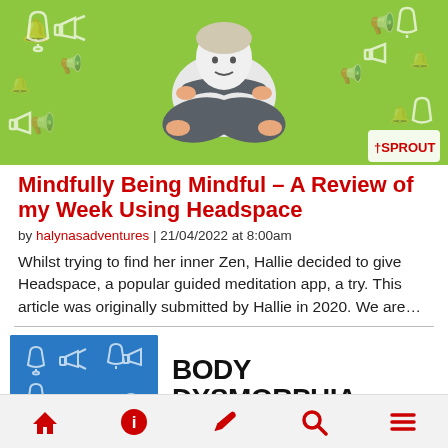[Figure (illustration): Green background with white bell and megaphone icons pattern; illustrated person sitting in lotus meditation pose wearing grey pants and white shirt; Sprout logo in bottom right corner]
Mindfully Being Mindful – A Review of my Week Using Headspace
by halynasadventures | 21/04/2022 at 8:00am
Whilst trying to find her inner Zen, Hallie decided to give Headspace, a popular guided meditation app, a try. This article was originally submitted by Hallie in 2020. We are…
[Figure (illustration): Blue background with white bell and megaphone icons pattern thumbnail image]
BODY DYSMORPHIA
Home | Info | Edit | Search | Menu navigation icons